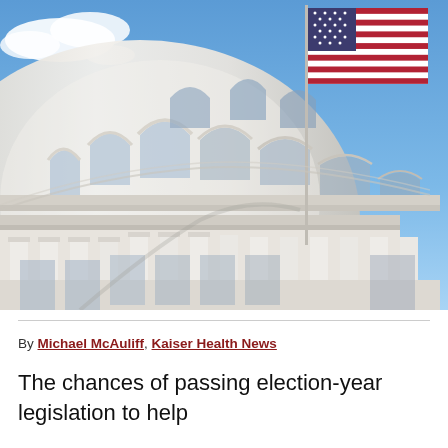[Figure (photo): Close-up photograph of the U.S. Capitol building dome with ornate white stone architecture and an American flag flying on a flagpole against a blue sky with clouds.]
By Michael McAuliff, Kaiser Health News
The chances of passing election-year legislation to help